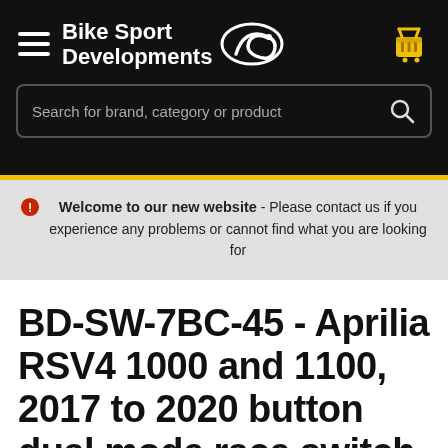[Figure (logo): Bike Sport Developments logo with stylized snake/leaf icon on black background, hamburger menu icon on left, shopping cart icon on right]
Search for brand, category or product
Welcome to our new website - Please contact us if you experience any problems or cannot find what you are looking for
BD-SW-7BC-45 - Aprilia RSV4 1000 and 1100, 2017 to 2020 button dual mode race switch - bar clamp